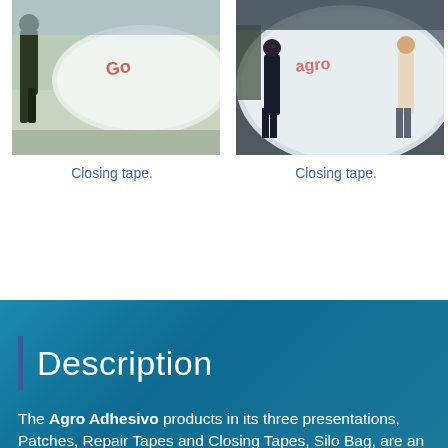[Figure (photo): Person handling white silo bag closing tape outdoors on bare ground]
Closing tape.
[Figure (photo): Two people handling large white silo bag closing tape outdoors]
Closing tape.
Description
The Agro Adhesivo products in its three presentations, Patches, Repair Tapes and Closing Tapes, Silo Bag, are an effective and immediate solution for the repair of small and large breakages, to close both ends, in a totally hermetic way, since To conserve the quality of